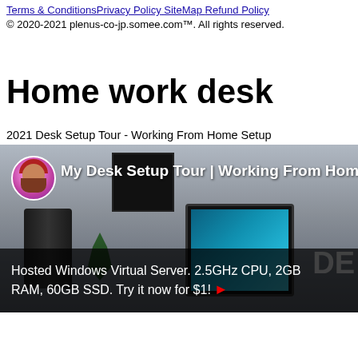Terms & Conditions Privacy Policy SiteMap Refund Policy
© 2020-2021 plenus-co-jp.somee.com™. All rights reserved.
Home work desk
2021 Desk Setup Tour - Working From Home Setup
[Figure (screenshot): YouTube video thumbnail showing a desk setup titled 'My Desk Setup Tour | Working From Home'. Features a man with a beard and red hat as the channel avatar, a monitor with teal display, a wall-mounted TV, and a plant on a desk. An overlay advertisement bar at the bottom reads 'Hosted Windows Virtual Server. 2.5GHz CPU, 2GB RAM, 60GB SSD. Try it now for $1!' with a red play arrow. Partial text 'DE' visible on right edge.]